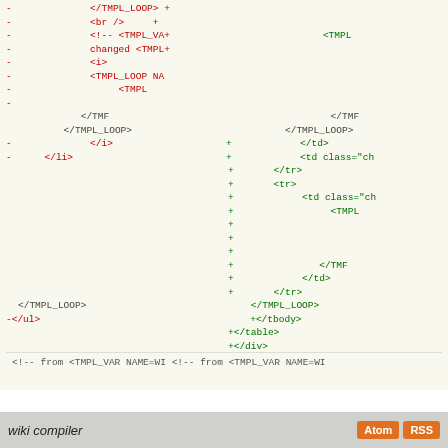[Figure (screenshot): A code diff view showing removed lines (red, prefixed with -) on the left and added lines (green, prefixed with +) on the right. The diff shows template loop and HTML tag changes. Background is light yellow-green.]
<!-- from <TMPL_VAR NAME=WI  <!-- from <TMPL_VAR NAME=WI
wiki compiler   Atom  RSS